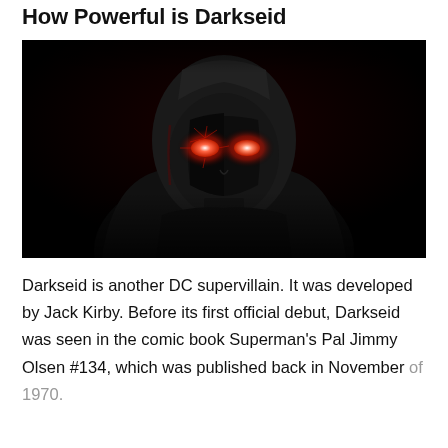How Powerful is Darkseid
[Figure (photo): Dark cinematic image of Darkseid, a DC supervillain, with glowing red eyes visible in near-total darkness. The character wears dark armor and the image is dramatically lit with deep blacks and crimson highlights.]
Darkseid is another DC supervillain. It was developed by Jack Kirby. Before its first official debut, Darkseid was seen in the comic book Superman's Pal Jimmy Olsen #134, which was published back in November of 1970.